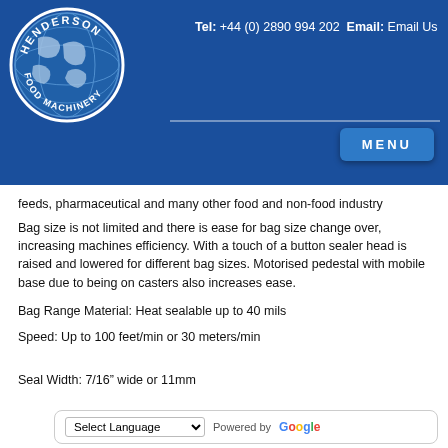Tel: +44 (0) 2890 994 202  Email: Email Us  MENU
feeds, pharmaceutical and many other food and non-food industry
Bag size is not limited and there is ease for bag size change over, increasing machines efficiency. With a touch of a button sealer head is raised and lowered for different bag sizes. Motorised pedestal with mobile base due to being on casters also increases ease.
Bag Range Material: Heat sealable up to 40 mils
Speed: Up to 100 feet/min or 30 meters/min
Seal Width: 7/16” wide or 11mm
Variable speed: Output can be increased or decreased with a turn of a so...